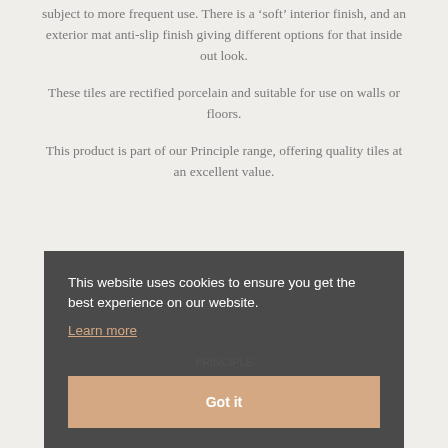subject to more frequent use. There is a 'soft' interior finish, and an exterior mat anti-slip finish giving different options for that inside out look.
These tiles are rectified porcelain and suitable for use on walls or floors.
This product is part of our Principle range, offering quality tiles at an excellent value.
This website uses cookies to ensure you get the best experience on our website. Learn more
Got it